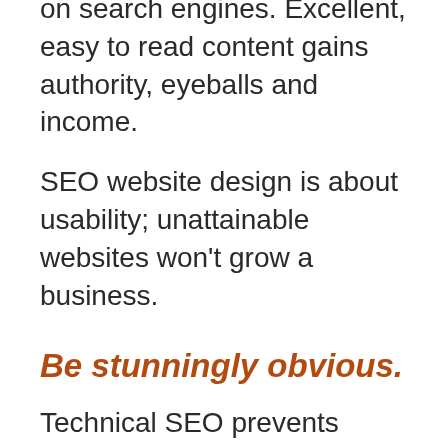on search engines. Excellent, easy to read content gains authority, eyeballs and income.
SEO website design is about usability; unattainable websites won't grow a business.
Be stunningly obvious.
Technical SEO prevents search engines from wasting precious crawl budget and concentrates efforts on pages and posts that will rank.
Multiple signals help search engines, and